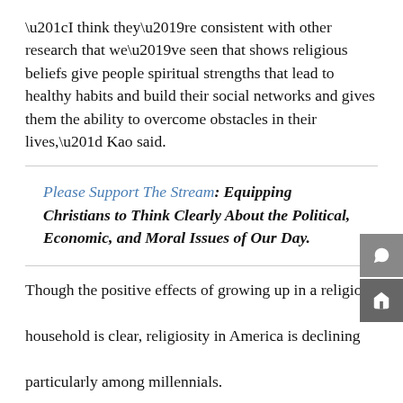“I think they’re consistent with other research that we’ve seen that shows religious beliefs give people spiritual strengths that lead to healthy habits and build their social networks and gives them the ability to overcome obstacles in their lives,” Kao said.
Please Support The Stream: Equipping Christians to Think Clearly About the Political, Economic, and Moral Issues of Our Day.
Though the positive effects of growing up in a religious household is clear, religiosity in America is declining, particularly among millennials.
Gallup data shows that the number of Americans regarding religion to be “very important” in their lives